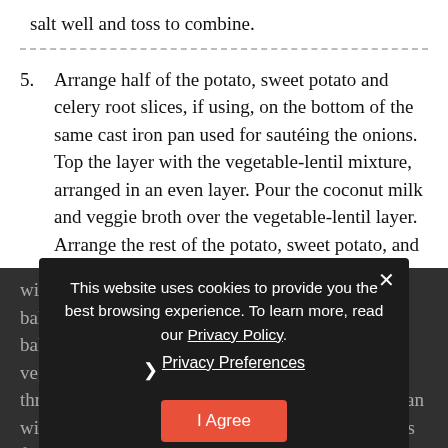salt well and toss to combine.
5. Arrange half of the potato, sweet potato and celery root slices, if using, on the bottom of the same cast iron pan used for sautéing the onions. Top the layer with the vegetable-lentil mixture, arranged in an even layer. Pour the coconut milk and veggie broth over the vegetable-lentil layer. Arrange the rest of the potato, sweet potato, and celery root slices on top in a spiral. Brush the root vegetable layer with the remaining 1 tablespoons of oil or ghee and sprinkle with salt and pepper. Cover, place in the oven, and bake for 30 minutes. Remove the lid, and continue baking for another 25-30 minutes, until the vegetables and lentils are soft and cooked throughout. Enjoy right away, scooped out of the pan with a spoon or cut into slices. This dish also makes for great leftovers. Reheat it in portions in the oven or on a pan.
This website uses cookies to provide you the best browsing experience. To learn more, read our Privacy Policy. Privacy Preferences I Agree